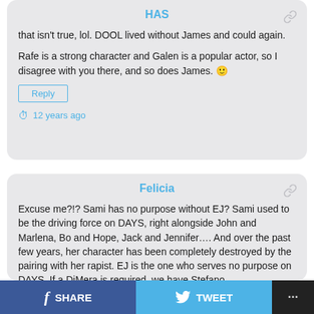HAS
that isn't true, lol. DOOL lived without James and could again.
Rafe is a strong character and Galen is a popular actor, so I disagree with you there, and so does James. 🙂
Reply
12 years ago
Felicia
Excuse me?!? Sami has no purpose without EJ? Sami used to be the driving force on DAYS, right alongside John and Marlena, Bo and Hope, Jack and Jennifer…. And over the past few years, her character has been completely destroyed by the pairing with her rapist. EJ is the one who serves no purpose on DAYS. If a DiMera is required, we have Stefano,
SHARE   TWEET   ...